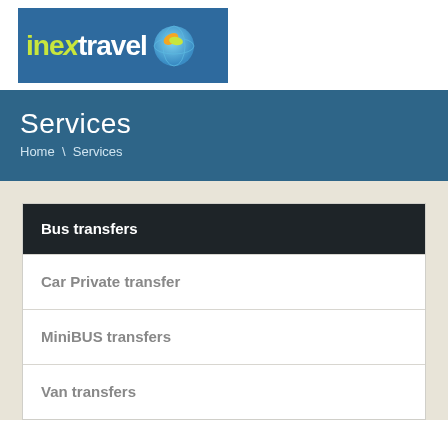[Figure (logo): Inex Travel logo with globe icon on blue background]
Services
Home \ Services
Bus transfers
Car Private transfer
MiniBUS transfers
Van transfers